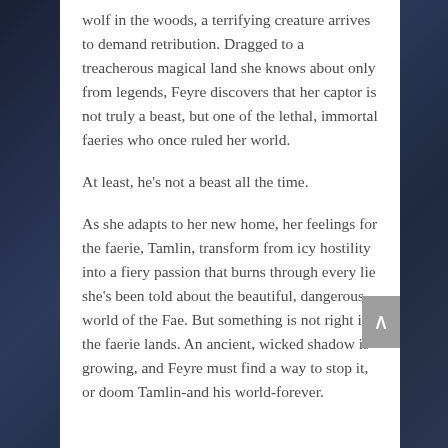wolf in the woods, a terrifying creature arrives to demand retribution. Dragged to a treacherous magical land she knows about only from legends, Feyre discovers that her captor is not truly a beast, but one of the lethal, immortal faeries who once ruled her world.
At least, he's not a beast all the time.
As she adapts to her new home, her feelings for the faerie, Tamlin, transform from icy hostility into a fiery passion that burns through every lie she's been told about the beautiful, dangerous world of the Fae. But something is not right in the faerie lands. An ancient, wicked shadow is growing, and Feyre must find a way to stop it, or doom Tamlin-and his world-forever.